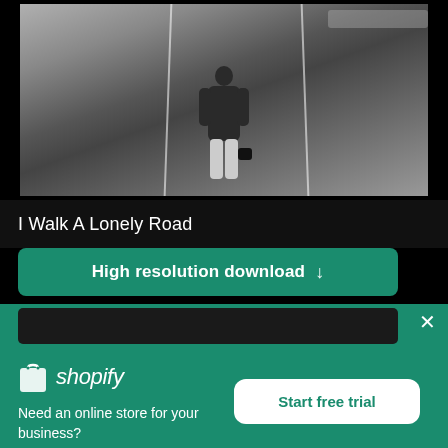[Figure (photo): Person standing on a road viewed from behind, wearing a dark jacket, holding a camera, with road lane markings visible]
I Walk A Lonely Road
High resolution download ↓
[Figure (logo): Shopify logo with shopping bag icon and italic 'shopify' text in white]
Need an online store for your business?
Start free trial